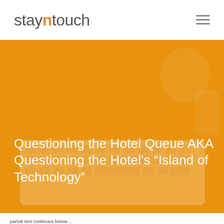stayntouch
[Figure (photo): Orange-tinted hero image of a laptop keyboard with coffee cup in background, overlaid with article title text]
Questioning the Hotel Queue AKA Questioning the Hotel's “Island of Technology”
partial text at bottom of page (cut off)